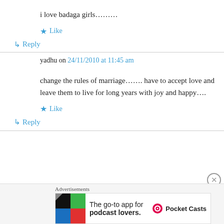i love badaga girls………
★ Like
↳ Reply
yadhu on 24/11/2010 at 11:45 am
change the rules of marriage……. have to accept love and leave them to live for long years with joy and happy….
★ Like
↳ Reply
Advertisements
The go-to app for podcast lovers. Pocket Casts